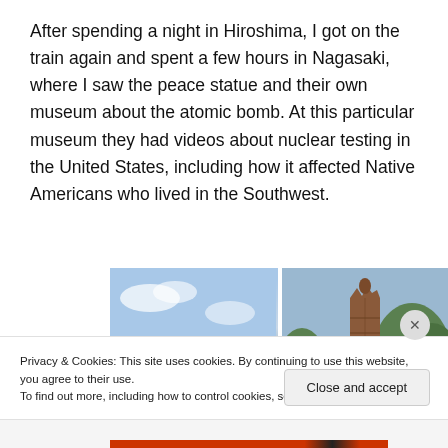After spending a night in Hiroshima, I got on the train again and spent a few hours in Nagasaki, where I saw the peace statue and their own museum about the atomic bomb. At this particular museum they had videos about nuclear testing in the United States, including how it affected Native Americans who lived in the Southwest.
[Figure (photo): Two side-by-side photos: left shows the Nagasaki Peace Statue (bronze figure with one arm raised), right shows a ruined brick tower/wall structure (Nagasaki atomic bomb ruins) against a blue sky with green trees.]
Privacy & Cookies: This site uses cookies. By continuing to use this website, you agree to their use.
To find out more, including how to control cookies, see here: Cookie Policy